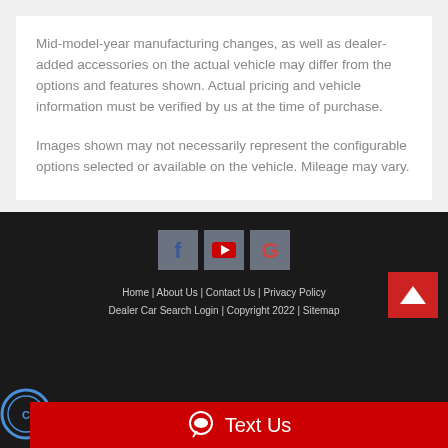Mid-model-year manufacturing changes, as well as dealer-added accessories on the actual vehicle may differ from the options and features shown. Actual pricing and vehicle information must be verified by us at the time of purchase.
Images shown may not necessarily represent the configurable options selected or available on the vehicle. Mileage may vary.
[Figure (other): Social media icons: Facebook (f), YouTube (play button), Google (G) — each in a gray square tile]
Home | About Us | Contact Us | Privacy Policy Dealer Car Search Login | Copyright 2022 | Sitemap